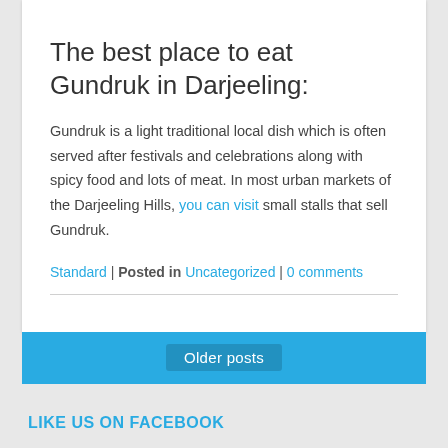The best place to eat Gundruk in Darjeeling:
Gundruk is a light traditional local dish which is often served after festivals and celebrations along with spicy food and lots of meat. In most urban markets of the Darjeeling Hills, you can visit small stalls that sell Gundruk.
Standard | Posted in Uncategorized | 0 comments
Older posts
LIKE US ON FACEBOOK